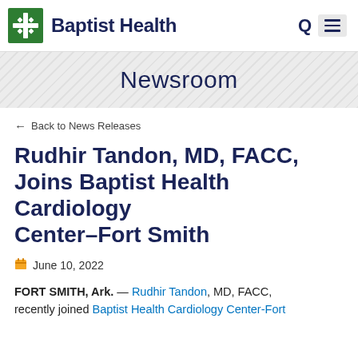Baptist Health
Newsroom
← Back to News Releases
Rudhir Tandon, MD, FACC, Joins Baptist Health Cardiology Center–Fort Smith
June 10, 2022
FORT SMITH, Ark. — Rudhir Tandon, MD, FACC, recently joined Baptist Health Cardiology Center-Fort